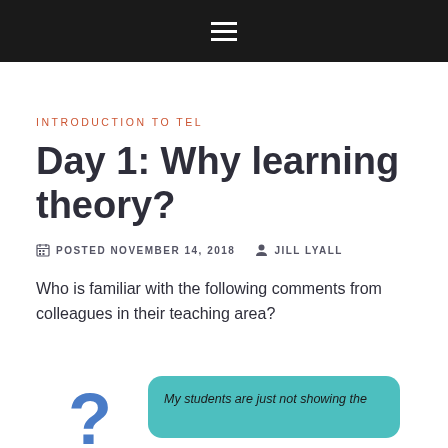INTRODUCTION TO TEL
Day 1: Why learning theory?
POSTED NOVEMBER 14, 2018  JILL LYALL
Who is familiar with the following comments from colleagues in their teaching area?
[Figure (illustration): A large blue question mark on the left, and a teal rounded rectangle card on the right with italic text: 'My students are just not showing the']